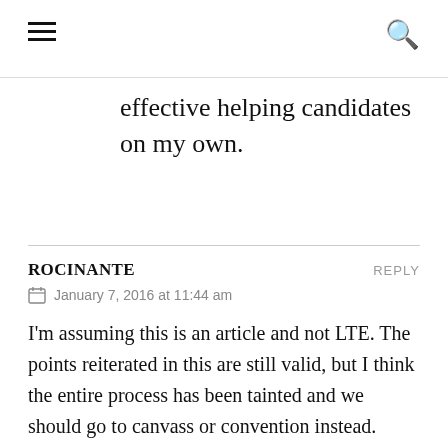☰  🔍
effective helping candidates on my own.
ROCINANTE
January 7, 2016 at 11:44 am
I'm assuming this is an article and not LTE. The points reiterated in this are still valid, but I think the entire process has been tainted and we should go to canvass or convention instead.